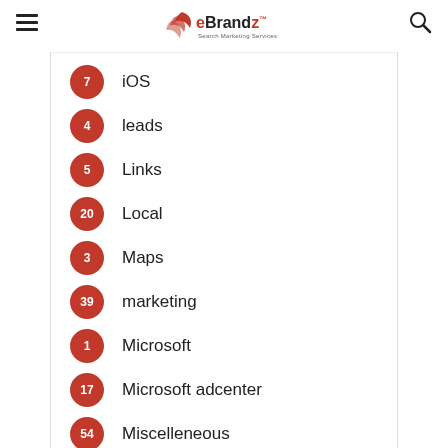eBrandz Search Marketing Services
7 iOS
4 leads
5 Links
20 Local
3 Maps
39 marketing
1 Microsoft
17 Microsoft adcenter
54 Miscelleneous
35 Mobile
47 News
9 online
Pay Per Click (partially visible)